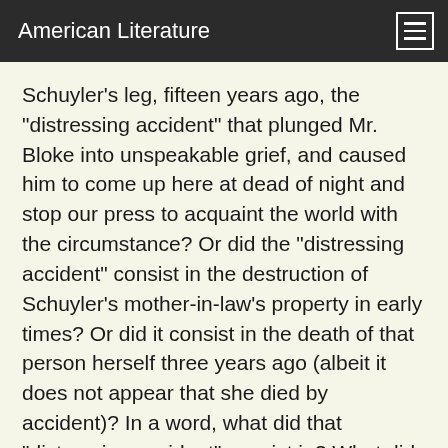American Literature
Schuyler's leg, fifteen years ago, the "distressing accident" that plunged Mr. Bloke into unspeakable grief, and caused him to come up here at dead of night and stop our press to acquaint the world with the circumstance? Or did the "distressing accident" consist in the destruction of Schuyler's mother-in-law's property in early times? Or did it consist in the death of that person herself three years ago (albeit it does not appear that she died by accident)? In a word, what did that "distressing accident" consist in? What did that driveling ass of a Schuyler stand in the wake of a runaway horse for, with his shouting and gesticulating, if he wanted to stop him? And